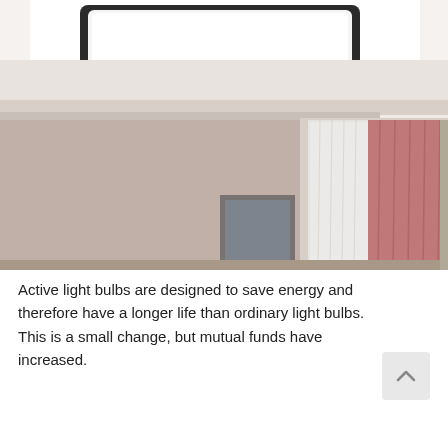[Figure (photo): Interior room photo showing a modern ceiling with a large square LED flush-mount light fixture with black frame against a white ceiling. The room has taupe/mauve walls, a window with sheer white curtains and pink/rose curtains on the right side, and a partial view of a mirror or framed art on the left lower area.]
Active light bulbs are designed to save energy and therefore have a longer life than ordinary light bulbs. This is a small change, but mutual funds have increased.